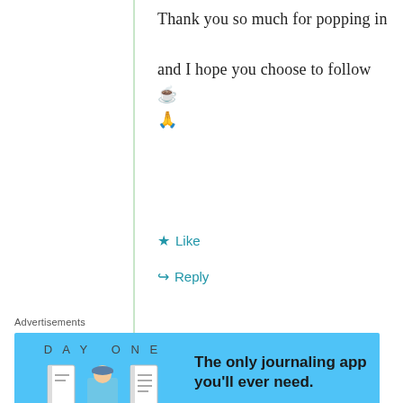Thank you so much for popping in and I hope you choose to follow ☕ 🙏
⭐ Like
↪ Reply
Advertisements
[Figure (screenshot): Day One journaling app advertisement with blue background, app icons, and text 'The only journaling app you'll ever need.']
Nancy
October 6, 2019 at 5:41 AM
I love tea – it can bring people together in so many ways. Vicki's story was neat. Haha, no...